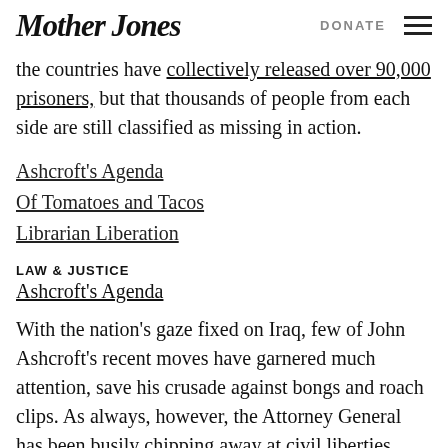Mother Jones | DONATE
the countries have collectively released over 90,000 prisoners, but that thousands of people from each side are still classified as missing in action.
Ashcroft's Agenda
Of Tomatoes and Tacos
Librarian Liberation
LAW & JUSTICE
Ashcroft's Agenda
With the nation's gaze fixed on Iraq, few of John Ashcroft's recent moves have garnered much attention, save his crusade against bongs and roach clips. As always, however, the Attorney General has been busily chipping away at civil liberties, critics